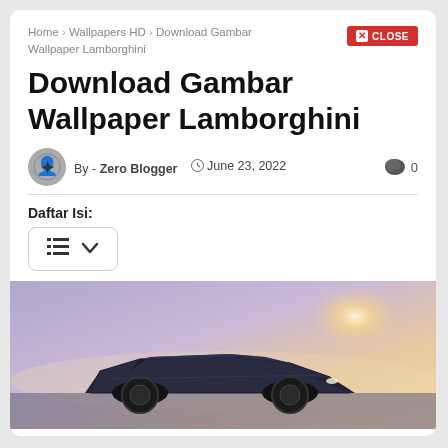Home > Wallpapers HD > Download Gambar Wallpaper Lamborghini
Download Gambar Wallpaper Lamborghini
By - Zero Blogger  June 23, 2022   0
Daftar Isi:
[Figure (photo): Lamborghini car silhouette against a sunset sky with purple and orange hues]